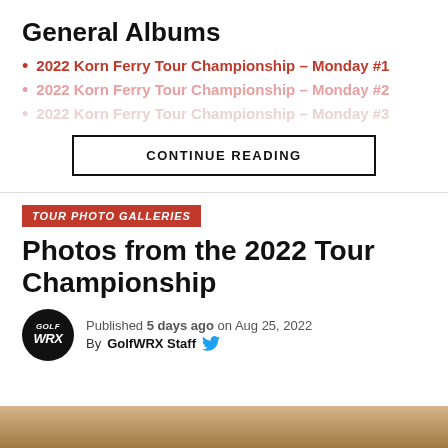General Albums
2022 Korn Ferry Tour Championship – Monday #1
2022 Korn Ferry Tour Championship – Monday #2
2022 Korn Ferry Tour Championship – Monday #3
CONTINUE READING
TOUR PHOTO GALLERIES
Photos from the 2022 Tour Championship
Published 5 days ago on Aug 25, 2022
By GolfWRX Staff
[Figure (photo): Partial photo strip at bottom of page showing a golf-related image]